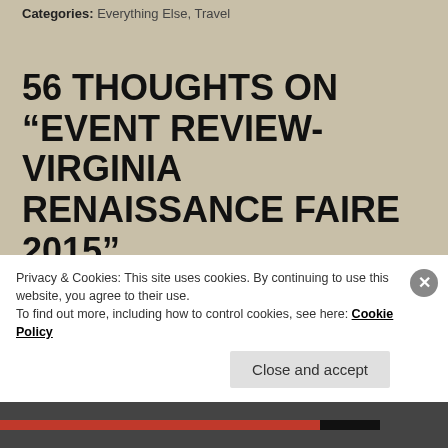Categories: Everything Else, Travel
56 THOUGHTS ON “EVENT REVIEW-VIRGINIA RENAISSANCE FAIRE 2015”
FRED NELSON
May 11, 2015 at 2:35 PM
Privacy & Cookies: This site uses cookies. By continuing to use this website, you agree to their use.
To find out more, including how to control cookies, see here: Cookie Policy
Close and accept